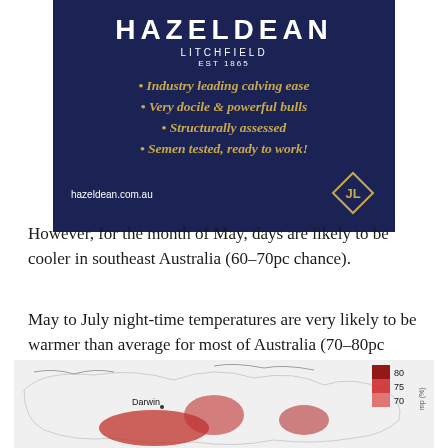[Figure (illustration): Hazeldean Litchfield advertisement with dark navy background. Title HAZELDEAN in large white letters, LITCHFIELD and EST 1865 below. Bullet points in gold italic: Industry leading calving ease, Very docile & powerful bulls, Structurally assessed, Semen tested, ready to work! Website hazeldean.com.au and JL logo at bottom.]
However, for the month of May, days are likely to be cooler in southeast Australia (60–70pc chance).
May to July night-time temperatures are very likely to be warmer than average for most of Australia (70–80pc chance for southeast Australia, greater than 80pc chance elsewhere).
[Figure (map): Map of Australia showing temperature probability with red shading, legend on right showing values 70, 75, 80. Darwin labeled. Partly cut off at bottom of page.]